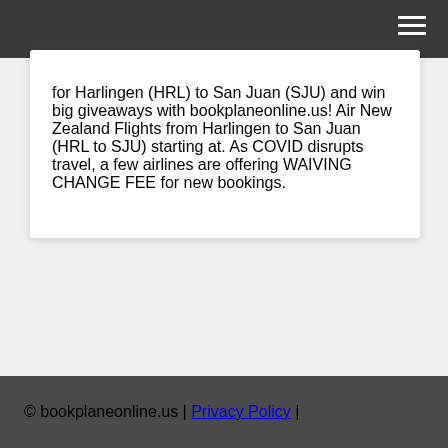for Harlingen (HRL) to San Juan (SJU) and win big giveaways with bookplaneonline.us! Air New Zealand Flights from Harlingen to San Juan (HRL to SJU) starting at. As COVID disrupts travel, a few airlines are offering WAIVING CHANGE FEE for new bookings.
© bookplaneonline.us | Privacy Policy |